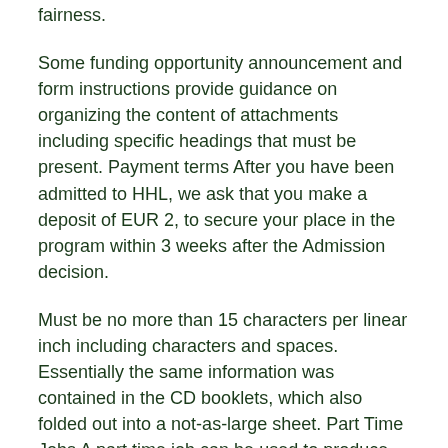fairness.
Some funding opportunity announcement and form instructions provide guidance on organizing the content of attachments including specific headings that must be present. Payment terms After you have been admitted to HHL, we ask that you make a deposit of EUR 2, to secure your place in the program within 3 weeks after the Admission decision.
Must be no more than 15 characters per linear inch including characters and spaces. Essentially the same information was contained in the CD booklets, which also folded out into a not-as-large sheet. Part Time Jobs A part time job can be used to produce extra income, or income for those with a limited amount of time to work, such as teenshigh school and college studentsretirees, or single parents.